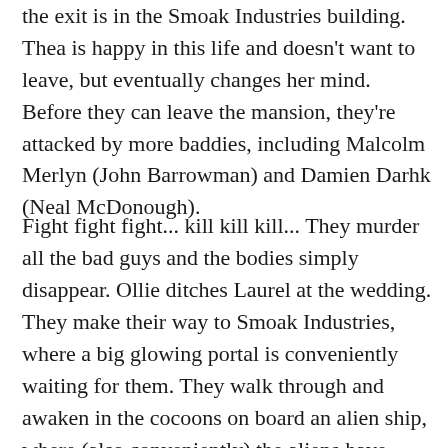the exit is in the Smoak Industries building. Thea is happy in this life and doesn't want to leave, but eventually changes her mind. Before they can leave the mansion, they're attacked by more baddies, including Malcolm Merlyn (John Barrowman) and Damien Darhk (Neal McDonough).
Fight fight fight… kill kill kill… They murder all the bad guys and the bodies simply disappear. Ollie ditches Laurel at the wedding.
They make their way to Smoak Industries, where a big glowing portal is conveniently waiting for them. They walk through and awaken in the cocoons on board an alien ship, where (also conveniently) the aliens have simply left them alone and unmonitored. The five of them skulk around through the big, empty hallways of the ship unnoticed until